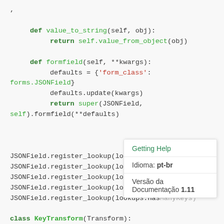def value_to_string(self, obj):
    return self.value_from_object(obj)

def formfield(self, **kwargs):
    defaults = {'form_class': forms.JSONField}
    defaults.update(kwargs)
    return super(JSONField, self).formfield(**defaults)

JSONField.register_lookup(lookups.DataContains)
JSONField.register_lookup(lookups.Cont...
JSONField.register_lookup(lookups.HasKey)
JSONField.register_lookup(lookups.Has...
JSONField.register_lookup(lookups.HasManyKeys)

class KeyTransform(Transform):
[Figure (other): Tooltip popup with three rows: 'Getting Help', 'Idioma: pt-br', 'Versão da Documentação 1.11']